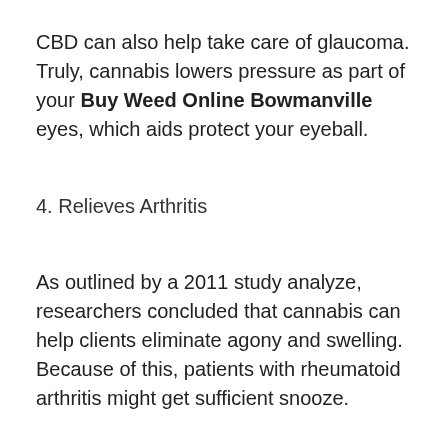CBD can also help take care of glaucoma. Truly, cannabis lowers pressure as part of your Buy Weed Online Bowmanville eyes, which aids protect your eyeball.
4. Relieves Arthritis
As outlined by a 2011 study analyze, researchers concluded that cannabis can help clients eliminate agony and swelling. Because of this, patients with rheumatoid arthritis might get sufficient snooze.
5. Treats Epileptic Seizure
An additional analyze completed in 2003 uncovered the herb can be used to deal with epileptic seizures as well. An experiment accomplished on rats gave sufficient proof that CBD does stop seizures for as many as 10 several hours. Really, THC binds the cells from the brain that happen to be liable for triggering seizures.